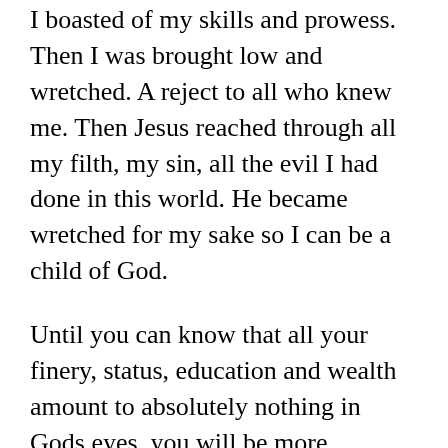I boasted of my skills and prowess. Then I was brought low and wretched. A reject to all who knew me. Then Jesus reached through all my filth, my sin, all the evil I had done in this world. He became wretched for my sake so I can be a child of God.
Until you can know that all your finery, status, education and wealth amount to absolutely nothing in Gods eyes, you will be more wretched than the lowest beggar on the street. God is not impressed with titles, or with wealth, or knowledge. All these things are puny and will be destroyed on the day of